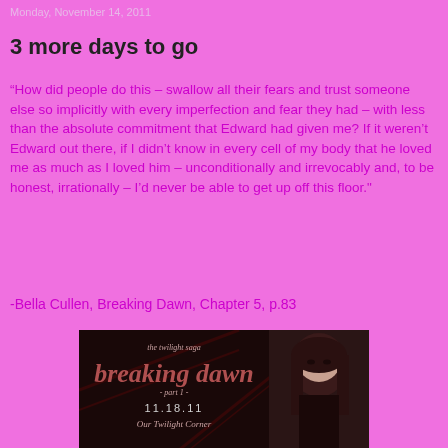Monday, November 14, 2011
3 more days to go
“How did people do this – swallow all their fears and trust someone else so implicitly with every imperfection and fear they had – with less than the absolute commitment that Edward had given me? If it weren’t Edward out there, if I didn’t know in every cell of my body that he loved me as much as I loved him – unconditionally and irrevocably and, to be honest, irrationally – I’d never be able to get up off this floor."
-Bella Cullen, Breaking Dawn, Chapter 5, p.83
[Figure (photo): Breaking Dawn Part 1 movie poster/promotional image showing the Twilight Saga Breaking Dawn logo with date 11.18.11 and 'Our Twilight Corner' text, alongside an image of a female character (Bella) with dark hair]